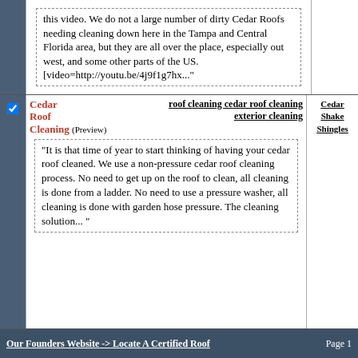this video. We do not a large number of dirty Cedar Roofs needing cleaning down here in the Tampa and Central Florida area, but they are all over the place, especially out west, and some other parts of the US. [video=http://youtu.be/4j9f1g7hx..."
Cedar Roof Cleaning (Preview) | roof cleaning cedar roof cleaning exterior cleaning | Cedar Shake Shingles
“It is that time of year to start thinking of having your cedar roof cleaned. We use a non-pressure cedar roof cleaning process. No need to get up on the roof to clean, all cleaning is done from a ladder. No need to use a pressure washer, all cleaning is done with garden hose pressure. The cleaning solution... ”
Our Founders Website -> Locate A Certified Roof   Page 1